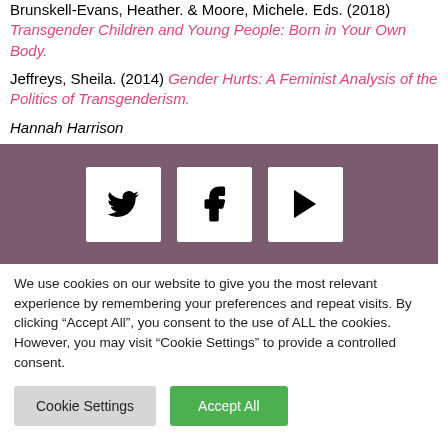Brunskell-Evans, Heather. & Moore, Michele. Eds. (2018) Transgender Children and Young People: Born in Your Own Body.
Jeffreys, Sheila. (2014) Gender Hurts: A Feminist Analysis of the Politics of Transgenderism.
Hannah Harrison
[Figure (infographic): Dark mauve/purple social media bar with three white icon boxes: Twitter bird, Facebook f, and YouTube play button]
We use cookies on our website to give you the most relevant experience by remembering your preferences and repeat visits. By clicking "Accept All", you consent to the use of ALL the cookies. However, you may visit "Cookie Settings" to provide a controlled consent.
Cookie Settings  Accept All